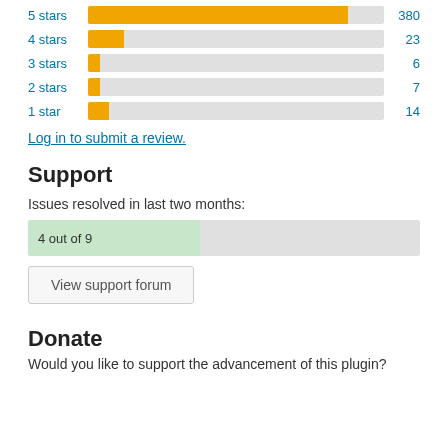[Figure (bar-chart): Star ratings]
Log in to submit a review.
Support
Issues resolved in last two months:
[Figure (bar-chart): Issues resolved]
View support forum
Donate
Would you like to support the advancement of this plugin?